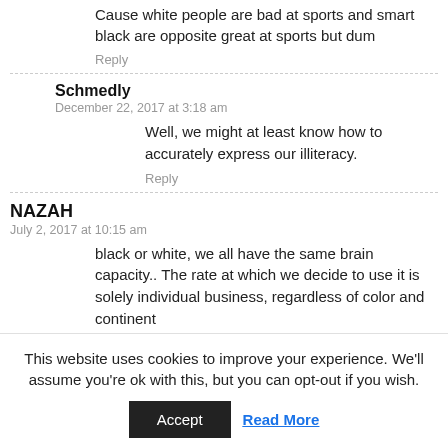Cause white people are bad at sports and smart black are opposite great at sports but dum
Reply
Schmedly
December 22, 2017 at 3:18 am
Well, we might at least know how to accurately express our illiteracy.
Reply
NAZAH
July 2, 2017 at 10:15 am
black or white, we all have the same brain capacity.. The rate at which we decide to use it is solely individual business, regardless of color and continent
This website uses cookies to improve your experience. We'll assume you're ok with this, but you can opt-out if you wish.
Accept
Read More